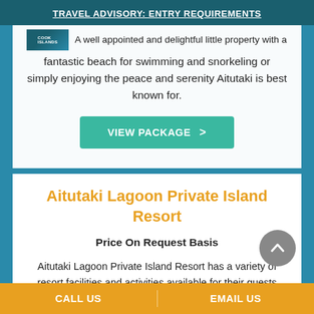TRAVEL ADVISORY: ENTRY REQUIREMENTS
A well appointed and delightful little property with a fantastic beach for swimming and snorkeling or simply enjoying the peace and serenity Aitutaki is best known for.
VIEW PACKAGE  >
Aitutaki Lagoon Private Island Resort
Price On Request Basis
Aitutaki Lagoon Private Island Resort has a variety of resort facilities and activities available for their guests enjoyment including Resort-wide Wi-Fi, two
CALL US     EMAIL US